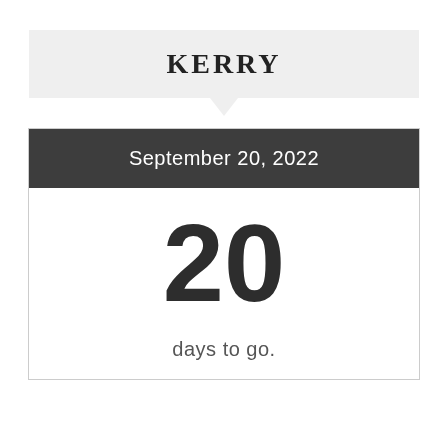KERRY
September 20, 2022
20
days to go.